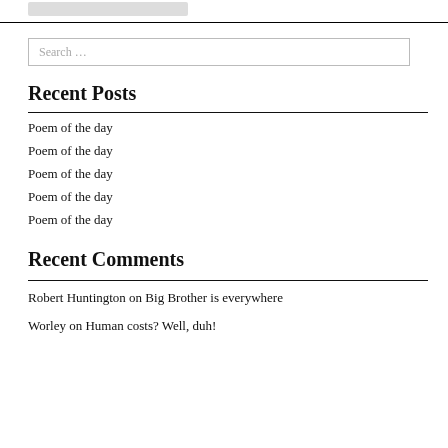[Figure (other): Grey button/widget near top of page]
Recent Posts
Poem of the day
Poem of the day
Poem of the day
Poem of the day
Poem of the day
Recent Comments
Robert Huntington on Big Brother is everywhere
Worley on Human costs? Well, duh!